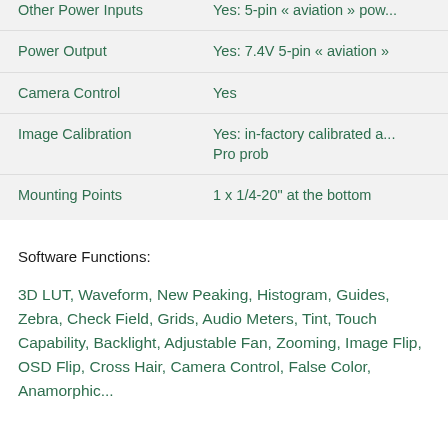| Feature | Value |
| --- | --- |
| Other Power Inputs | Yes: 5-pin « aviation » pow... |
| Power Output | Yes: 7.4V 5-pin « aviation » |
| Camera Control | Yes |
| Image Calibration | Yes: in-factory calibrated a... Pro prob |
| Mounting Points | 1 x 1/4-20" at the bottom |
Software Functions:
3D LUT, Waveform, New Peaking, Histogram, Guides, Zebra, Check Field, Grids, Audio Meters, Tint, Touch Capability, Backlight, Adjustable Fan, Zooming, Image Flip, OSD Flip, Cross Hair, Camera Control, False Color, Anamorphic...